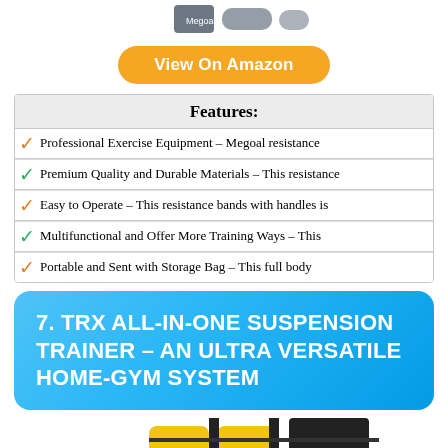[Figure (photo): Partial product image at top of page showing exercise equipment]
View On Amazon
Features:
Professional Exercise Equipment – Megoal resistance
Premium Quality and Durable Materials – This resistance
Easy to Operate – This resistance bands with handles is
Multifunctional and Offer More Training Ways – This
Portable and Sent with Storage Bag – This full body
7. TRX ALL-IN-ONE SUSPENSION TRAINER – AN ULTRA VERSATILE HOME-GYM SYSTEM
[Figure (photo): Partial product image at bottom showing TRX yellow and black suspension trainer straps]